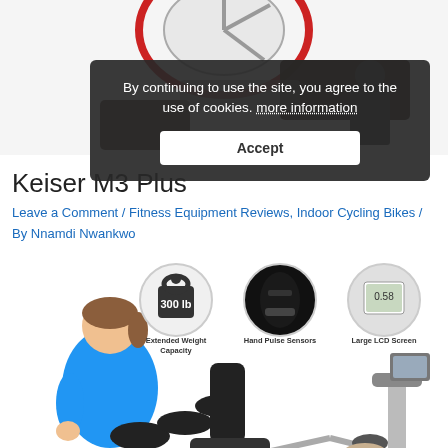[Figure (photo): Top portion of a fitness bike product image, partially visible at top of page]
By continuing to use the site, you agree to the use of cookies. more information
Accept
Keiser M3 Plus
Leave a Comment / Fitness Equipment Reviews, Indoor Cycling Bikes / By Nnamdi Nwankwo
[Figure (photo): Product feature icons showing: 300lb Extended Weight Capacity, Hand Pulse Sensors, Large LCD Screen; plus woman sitting on recumbent exercise bike]